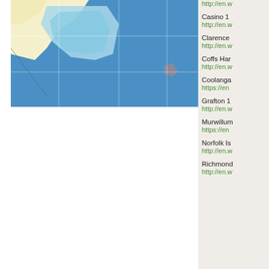[Figure (map): Geographic map showing coastal region with blue water areas, light yellow land, and a light blue/teal enclosed region, with grid lines overlaid]
http://en.w
Casino 1
http://en.w
Clarence
http://en.w
Coffs Har
http://en.w
Coolanga
https://en
Grafton 1
http://en.w
Murwillum
https://en
Norfolk Is
http://en.w
Richmond
http://en.w